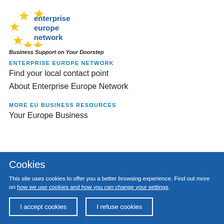[Figure (logo): Enterprise Europe Network logo with EU stars and blue text reading 'enterprise europe network']
Business Support on Your Doorstep
ENTERPRISE EUROPE NETWORK
Find your local contact point
About Enterprise Europe Network
MORE EU BUSINESS RESOURCES
Your Europe Business
Cookies
This site uses cookies to offer you a better browsing experience. Find out more on how we use cookies and how you can change your settings.
I accept cookies
I refuse cookies